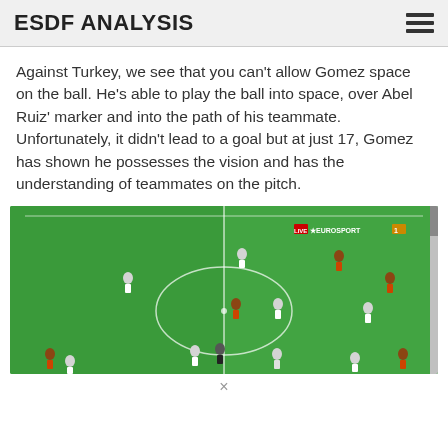ESDF ANALYSIS
Against Turkey, we see that you can't allow Gomez space on the ball. He's able to play the ball into space, over Abel Ruiz' marker and into the path of his teammate. Unfortunately, it didn't lead to a goal but at just 17, Gomez has shown he possesses the vision and has the understanding of teammates on the pitch.
[Figure (screenshot): Broadcast screenshot of a football (soccer) match showing players on a green pitch viewed from above, with a center circle visible. A Eurosport 1 LIVE watermark appears in the upper right corner.]
×